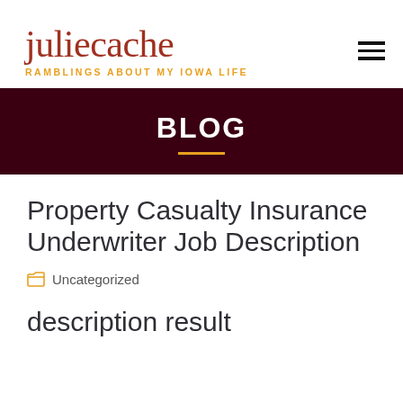juliecache — RAMBLINGS ABOUT MY IOWA LIFE
BLOG
Property Casualty Insurance Underwriter Job Description
Uncategorized
description result